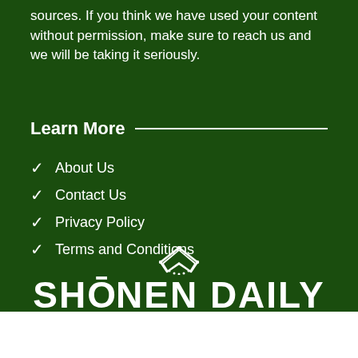sources. If you think we have used your content without permission, make sure to reach us and we will be taking it seriously.
Learn More
About Us
Contact Us
Privacy Policy
Terms and Conditions
[Figure (logo): Shonen Daily logo with crown icon and bold uppercase text SHONEN DAILY]